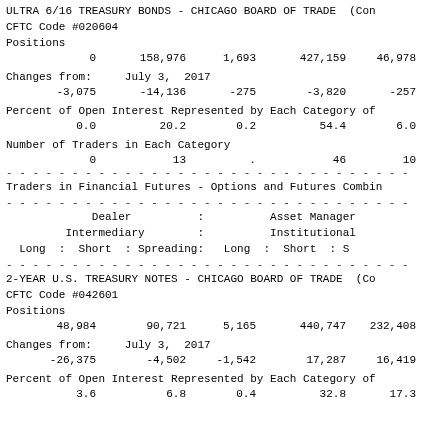ULTRA 6/16 TREASURY BONDS - CHICAGO BOARD OF TRADE (CON...
CFTC Code #020604
Positions
| 0 | 158,976 | 1,693 | 427,159 | 46,978 |
Changes from:    July 3, 2017
| -3,075 | -14,136 | -275 | -3,820 | -257 |
Percent of Open Interest Represented by Each Category of
| 0.0 | 20.2 | 0.2 | 54.4 | 6.0 |
Number of Traders in Each Category
| 0 | 13 | . | 46 | 10 |
Traders in Financial Futures - Options and Futures Combin...
| Dealer
Intermediary | : | Asset Manager
Institutional |
| --- | --- | --- |
| Long : Short : Spreading: | Long : Short : S |
2-YEAR U.S. TREASURY NOTES - CHICAGO BOARD OF TRADE (CO...
CFTC Code #042601
Positions
| 48,984 | 90,721 | 5,165 | 440,747 | 232,408 |
Changes from:    July 3, 2017
| -26,375 | -4,502 | -1,542 | 17,287 | 16,419 |
Percent of Open Interest Represented by Each Category of
| 3.6 | 6.8 | 0.4 | 32.8 | 17.3 |